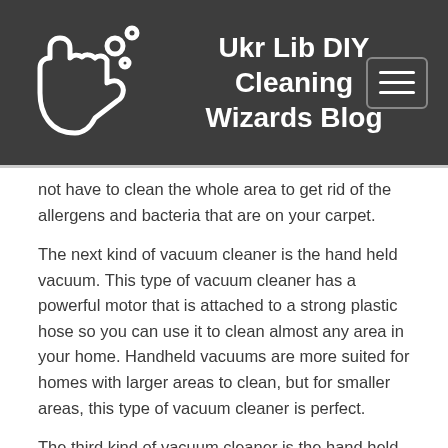Ukr Lib DIY Cleaning Wizards Blog
not have to clean the whole area to get rid of the allergens and bacteria that are on your carpet.
The next kind of vacuum cleaner is the hand held vacuum. This type of vacuum cleaner has a powerful motor that is attached to a strong plastic hose so you can use it to clean almost any area in your home. Handheld vacuums are more suited for homes with larger areas to clean, but for smaller areas, this type of vacuum cleaner is perfect.
The third kind of vacuum cleaner is the hand held and the above vacuum types. You can also buy self propelled vacuum cleaners that are also used for carpet cleaning. These are more expensive than the other two